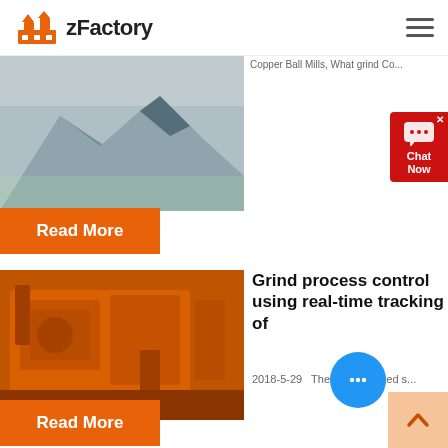[Figure (logo): zFactory logo with orange factory icon and bold text 'zFactory']
[Figure (photo): Partial view of mountain landscape, grey/blue tones]
Copper Ball Mills, What grind Co...
Read More
[Figure (screenshot): Chat Now widget, red background with chat icon]
[Figure (photo): Orange industrial impact crusher machine]
Grind process control using real-time tracking of
2018-5-29   These two related s...
Read More
[Figure (other): Blue chat bubble icon]
[Figure (other): Orange back-to-top arrow button]